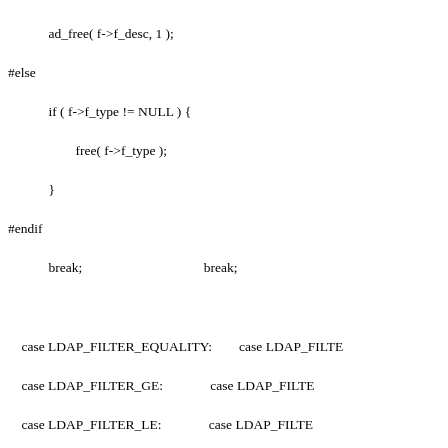Code snippet showing C preprocessor directives and LDAP filter case statements including ad_free, if/else blocks, LDAP_FILTER_EQUALITY, LDAP_FILTER_GE, LDAP_FILTER_LE, LDAP_FILTER_APPROX, SLAPD_SCHEMA_NOT_COMPAT, ava_free, LDAP_FILTER_SUBSTRINGS, ad_free f_sub_desc, free f_sub_initial.bv_val